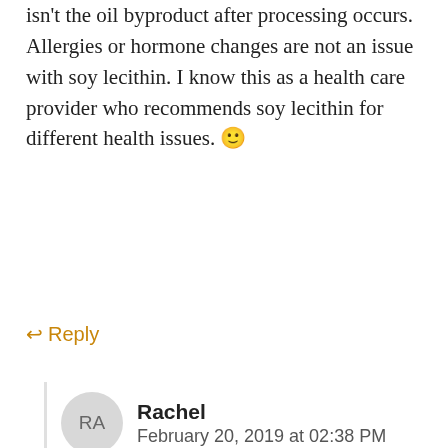isn't the oil byproduct after processing occurs. Allergies or hormone changes are not an issue with soy lecithin. I know this as a health care provider who recommends soy lecithin for different health issues. 🙂
↩ Reply
Rachel
February 20, 2019 at 02:38 PM
Thanks for commenting Kara! Yes my daughter is allergic to soy, but we can have soy lecithin just fine 🙂
↩ Reply